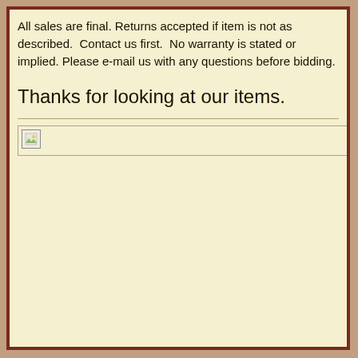All sales are final. Returns accepted if item is not as described. Contact us first. No warranty is stated or implied. Please e-mail us with any questions before bidding.
Thanks for looking at our items.
[Figure (photo): Broken/missing image placeholder with small icon in upper-left corner]